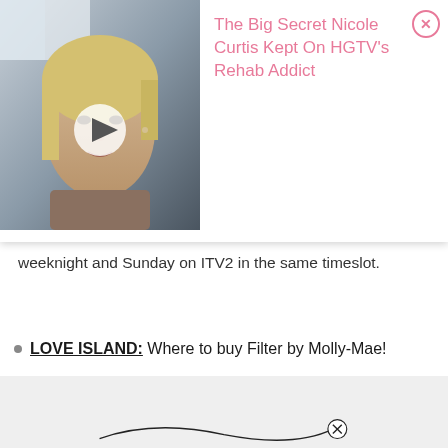[Figure (screenshot): Video overlay card showing a woman in a car, with a play button. Title reads: The Big Secret Nicole Curtis Kept On HGTV's Rehab Addict, with a pink close X button.]
weeknight and Sunday on ITV2 in the same timeslot.
LOVE ISLAND: Where to buy Filter by Molly-Mae!
[Figure (other): Ad placeholder box with 'Ad' label in a rounded rectangle, on a light grey background.]
[Figure (other): Bottom close button (X in circle) with a curved line, on light grey background.]